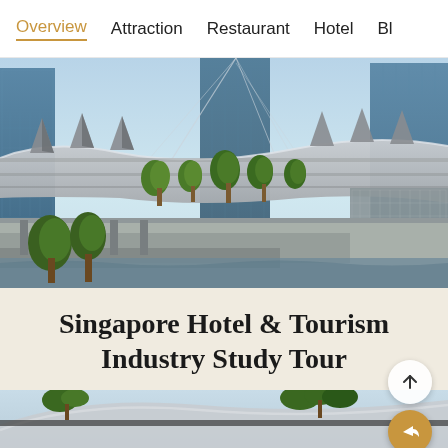Overview   Attraction   Restaurant   Hotel   Bl
[Figure (photo): Singapore Marina Bay Sands area with modern architecture, glass buildings, distinctive rooftop structures, palm trees, and a Louis Vuitton waterfront store]
Singapore Hotel & Tourism Industry Study Tour
[Figure (photo): Bottom portion of a second photo showing a curved glass structure with palm trees visible in the background against a light blue sky, with a scroll-up button and a share/forward button on the right side]